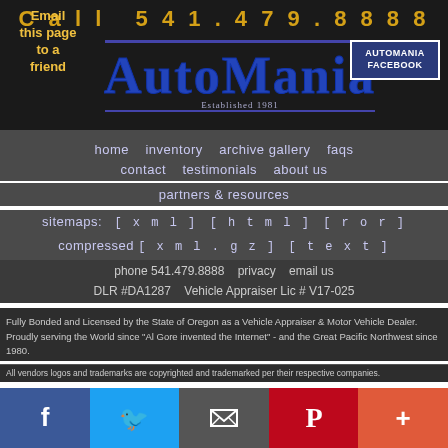Call 541.479.8888
Email this page to a friend
[Figure (logo): AutoMania dealership logo with blue stylized text and 'Established 1981' tagline]
[Figure (logo): AutoMania Facebook button box]
home   inventory   archive gallery   faqs
contact   testimonials   about us
partners & resources
sitemaps:   [xml]   [html]   [ror]
compressed [xml.gz]   [text]
phone 541.479.8888   privacy   email us
DLR #DA1287   Vehicle Appraiser Lic # V17-025
Fully Bonded and Licensed by the State of Oregon as a Vehicle Appraiser & Motor Vehicle Dealer. Proudly serving the World since "Al Gore invented the Internet" - and the Great Pacific Northwest since 1980.
All vendors logos and trademarks are copyrighted and trademarked per their respective companies.